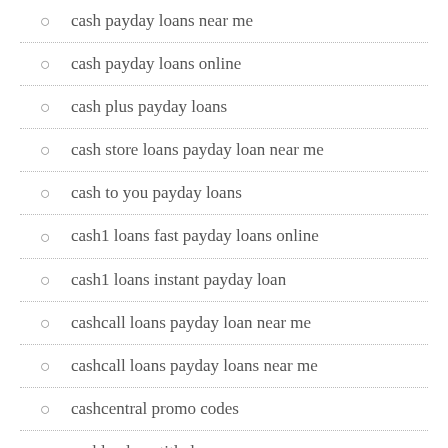cash payday loans near me
cash payday loans online
cash plus payday loans
cash store loans payday loan near me
cash to you payday loans
cash1 loans fast payday loans online
cash1 loans instant payday loan
cashcall loans payday loan near me
cashcall loans payday loans near me
cashcentral promo codes
cashland car title loan
cashland cell phone